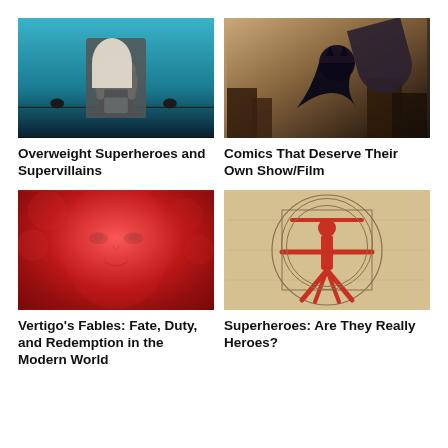[Figure (illustration): Comic illustration of a woman with white/blonde hair sitting and using a laptop, with birds on wires, blue/teal background]
Overweight Superheroes and Supervillains
[Figure (illustration): Comic illustration of a dark caped superhero (Batman-like) flying over a cityscape, dark dramatic colors]
Comics That Deserve Their Own Show/Film
[Figure (illustration): Close-up comic illustration of a woman's face in red/pink tones, dramatic lighting]
Vertigo's Fables: Fate, Duty, and Redemption in the Modern World
[Figure (illustration): Illustration of a red superhero figure in a Vitruvian Man pose on a parchment/beige background with compass circles]
Superheroes: Are They Really Heroes?